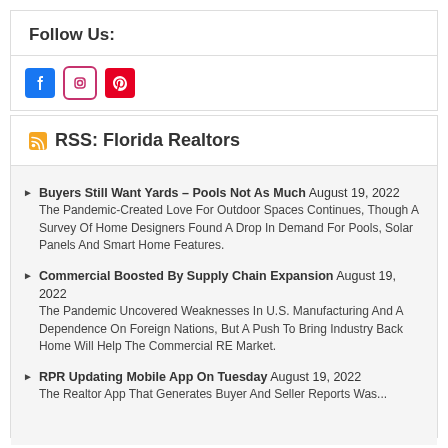Follow Us:
[Figure (infographic): Social media icons: Facebook (blue), Instagram (outlined pink), Pinterest (red)]
RSS: Florida Realtors
Buyers Still Want Yards – Pools Not As Much August 19, 2022 The Pandemic-Created Love For Outdoor Spaces Continues, Though A Survey Of Home Designers Found A Drop In Demand For Pools, Solar Panels And Smart Home Features.
Commercial Boosted By Supply Chain Expansion August 19, 2022 The Pandemic Uncovered Weaknesses In U.S. Manufacturing And A Dependence On Foreign Nations, But A Push To Bring Industry Back Home Will Help The Commercial RE Market.
RPR Updating Mobile App On Tuesday August 19, 2022 The Realtor App That Generates Buyer And Seller Reports Was...